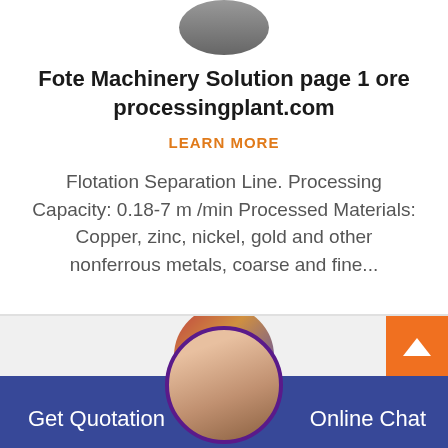[Figure (photo): Circular cropped photo of industrial machinery at top of card]
Fote Machinery Solution page 1 ore processingplant.com
LEARN MORE
Flotation Separation Line. Processing Capacity: 0.18-7 m /min Processed Materials: Copper, zinc, nickel, gold and other nonferrous metals, coarse and fine...
[Figure (photo): Circular cropped photo of industrial equipment, partially visible]
[Figure (photo): Circular photo of a smiling woman with headset, customer service representative]
Get Quotation
Online Chat